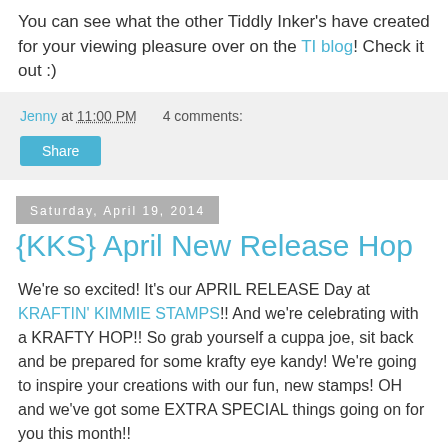You can see what the other Tiddly Inker's have created for your viewing pleasure over on the TI blog! Check it out :)
Jenny at 11:00 PM   4 comments:
Share
Saturday, April 19, 2014
{KKS} April New Release Hop
We're so excited! It's our APRIL RELEASE Day at KRAFTIN' KIMMIE STAMPS!! And we're celebrating with a KRAFTY HOP!! So grab yourself a cuppa joe, sit back and be prepared for some krafty eye kandy! We're going to inspire your creations with our fun, new stamps! OH and we've got some EXTRA SPECIAL things going on for you this month!!